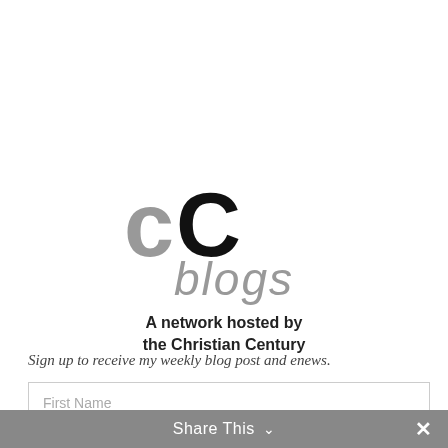[Figure (logo): CC Blogs logo — large black and gray overlapping 'CC' letters with gray italic 'blogs' text and tagline 'A network hosted by the Christian Century']
Sign up to receive my weekly blog post and enews.
First Name
Last Name
Share This ∨  ✕